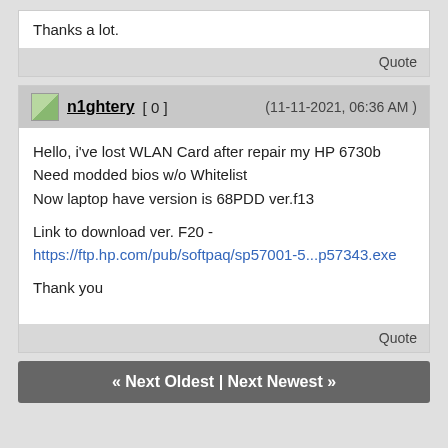Thanks a lot.
Quote
n1ghtery [ 0 ]   (11-11-2021, 06:36 AM )
Hello, i've lost WLAN Card after repair my HP 6730b
Need modded bios w/o Whitelist
Now laptop have version is 68PDD ver.f13

Link to download ver. F20 -
https://ftp.hp.com/pub/softpaq/sp57001-5...p57343.exe

Thank you
Quote
« Next Oldest | Next Newest »